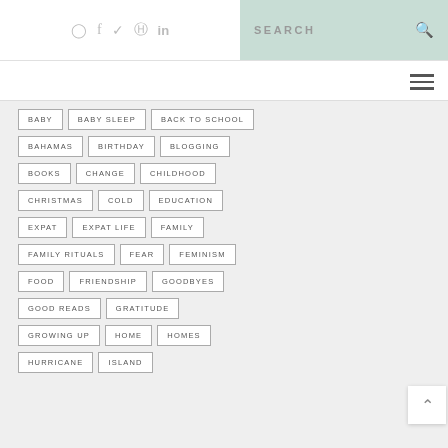Social icons: Instagram, Facebook, Twitter, Pinterest, LinkedIn | SEARCH bar
BABY
BABY SLEEP
BACK TO SCHOOL
BAHAMAS
BIRTHDAY
BLOGGING
BOOKS
CHANGE
CHILDHOOD
CHRISTMAS
COLD
EDUCATION
EXPAT
EXPAT LIFE
FAMILY
FAMILY RITUALS
FEAR
FEMINISM
FOOD
FRIENDSHIP
GOODBYES
GOOD READS
GRATITUDE
GROWING UP
HOME
HOMES
HURRICANE
ISLAND